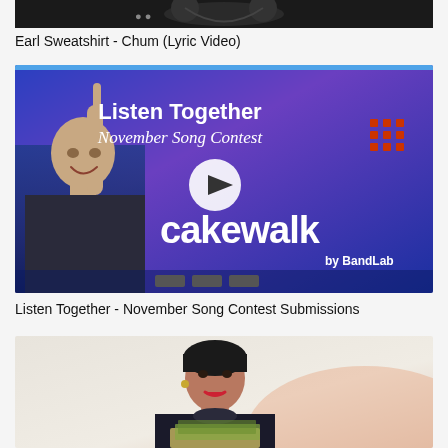[Figure (screenshot): Partial dark thumbnail at top of page, appearing to be a music video thumbnail]
Earl Sweatshirt - Chum (Lyric Video)
[Figure (screenshot): Thumbnail for Cakewalk by BandLab - Listen Together November Song Contest video. Blue/purple background with man pointing up, Cakewalk logo, play button overlay.]
Listen Together - November Song Contest Submissions
[Figure (photo): Partial thumbnail showing a woman with dark hair holding something, light background]